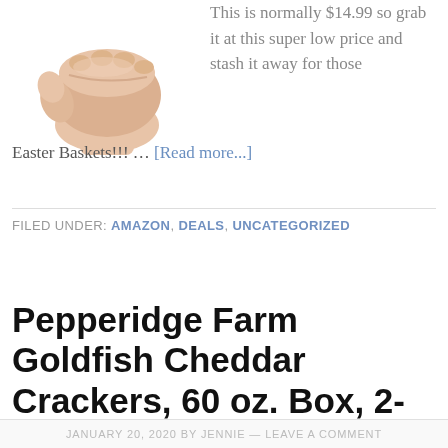[Figure (photo): A hand forming a fist, photographed against a white background]
This is normally $14.99 so grab it at this super low price and stash it away for those Easter Baskets!!! … [Read more...]
FILED UNDER: AMAZON, DEALS, UNCATEGORIZED
Pepperidge Farm Goldfish Cheddar Crackers, 60 oz. Box, 2-count $6.85
JANUARY 20, 2020 BY JENNIE — LEAVE A COMMENT